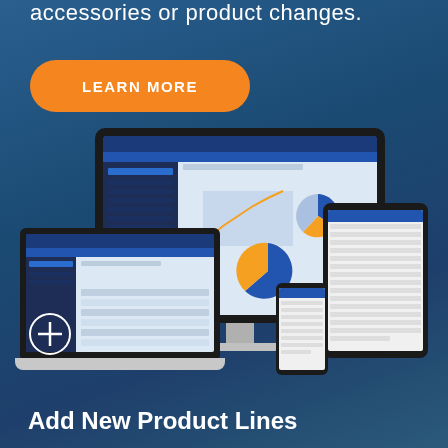accessories or product changes.
[Figure (screenshot): Orange 'LEARN MORE' button with rounded pill shape on blue gradient background]
[Figure (illustration): Responsive device mockup showing a software application displayed across a desktop monitor, laptop, tablet, and smartphone. The screens show a blue-themed web application with dashboard, charts, pie chart, and data tables.]
[Figure (illustration): Circle plus (+) icon in white outline]
Add New Product Lines